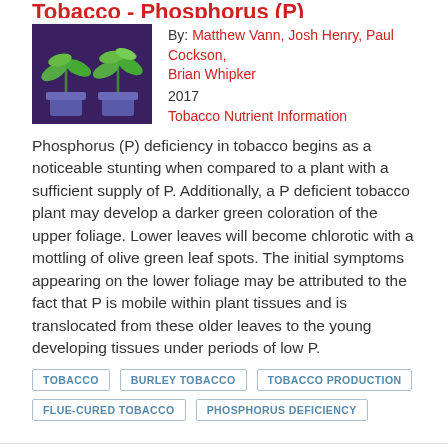Tobacco - Phosphorus (P) Deficiency
By: Matthew Vann, Josh Henry, Paul Cockson, Brian Whipker
2017
Tobacco Nutrient Information
[Figure (photo): Two small tobacco plants in pots against a purple background, showing stunted growth]
Phosphorus (P) deficiency in tobacco begins as a noticeable stunting when compared to a plant with a sufficient supply of P. Additionally, a P deficient tobacco plant may develop a darker green coloration of the upper foliage. Lower leaves will become chlorotic with a mottling of olive green leaf spots. The initial symptoms appearing on the lower foliage may be attributed to the fact that P is mobile within plant tissues and is translocated from these older leaves to the young developing tissues under periods of low P.
TOBACCO
BURLEY TOBACCO
TOBACCO PRODUCTION
FLUE-CURED TOBACCO
PHOSPHORUS DEFICIENCY
Tobacco - Boron (B) Deficiency